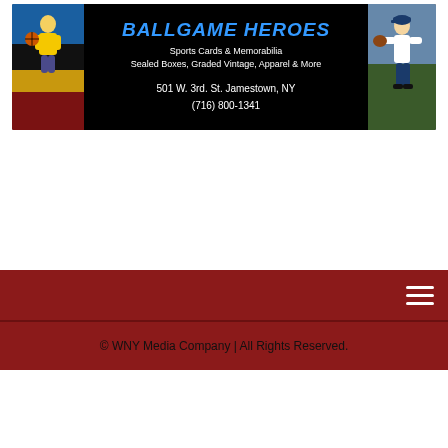[Figure (illustration): Ballgame Heroes sports cards and memorabilia advertisement banner. Black background with blue text 'BALLGAME HEROES', subtitle 'Sports Cards & Memorabilia / Sealed Boxes, Graded Vintage, Apparel & More', address '501 W. 3rd. St. Jamestown, NY', phone '(716) 800-1341'. Left side shows a basketball player image, right side shows a baseball player image.]
[Figure (screenshot): Dark red navigation bar with a hamburger menu icon (three horizontal lines) at the right side.]
© WNY Media Company | All Rights Reserved.